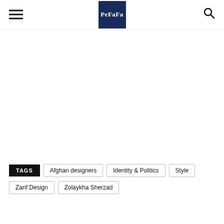PeFaFa
TAGS  Afghan designers  Identity & Politics  Style  Zarif Design  Zolaykha Sherzad